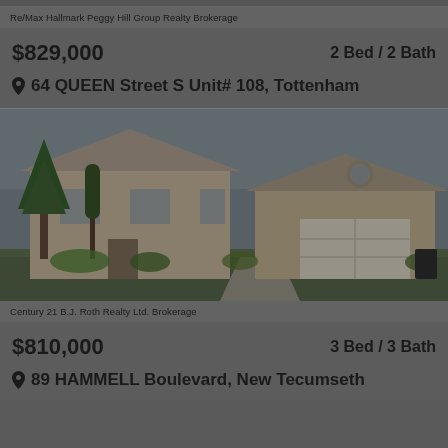Re/Max Hallmark Peggy Hill Group Realty Brokerage
$829,000
2 Bed / 2 Bath
64 QUEEN Street S Unit# 108, Tottenham
[Figure (photo): Exterior photo of a residential property showing a two-storey home with brick facade, large trees, green lawn, and a double garage on the right side.]
Century 21 B.J. Roth Realty Ltd. Brokerage
$810,000
3 Bed / 3 Bath
89 HAMMELL Boulevard, New Tecumseth